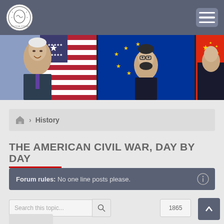Site header with logo and navigation menu
[Figure (photo): Three banner photos: Biden with US flag, European Council president with EU flag, and Chinese official with Chinese flag]
History
THE AMERICAN CIVIL WAR, DAY BY DAY
Forum rules: No one line posts please.
Search this topic...
1865